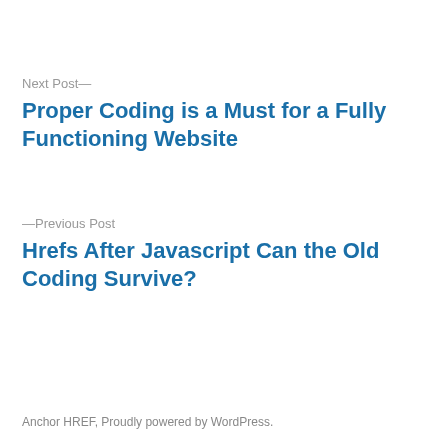Next Post—
Proper Coding is a Must for a Fully Functioning Website
—Previous Post
Hrefs After Javascript Can the Old Coding Survive?
Anchor HREF, Proudly powered by WordPress.